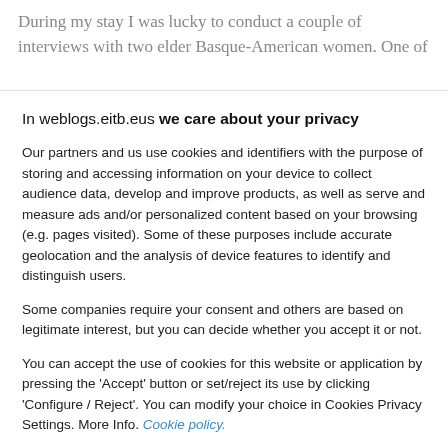During my stay I was lucky to conduct a couple of interviews with two elder Basque-American women. One of
In weblogs.eitb.eus we care about your privacy
Our partners and us use cookies and identifiers with the purpose of storing and accessing information on your device to collect audience data, develop and improve products, as well as serve and measure ads and/or personalized content based on your browsing (e.g. pages visited). Some of these purposes include accurate geolocation and the analysis of device features to identify and distinguish users.
Some companies require your consent and others are based on legitimate interest, but you can decide whether you accept it or not.
You can accept the use of cookies for this website or application by pressing the 'Accept' button or set/reject its use by clicking 'Configure / Reject'. You can modify your choice in Cookies Privacy Settings. More Info. Cookie policy.
Accept
More options
See list of partners
Sibbo ver 125.38